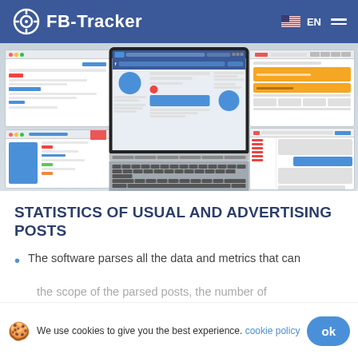FB-Tracker EN
[Figure (screenshot): Hero image showing a laptop computer displaying a Facebook profile page, with four smaller screenshots of various FB-Tracker interface panels arranged around it (top-left: data table, top-right: yellow/orange UI panel, bottom-left: list/feed view, bottom-right: content grid).]
STATISTICS OF USUAL AND ADVERTISING POSTS
The software parses all the data and metrics that can
the scope of the parsed posts, the number of
interactions between the users, such as clicks,